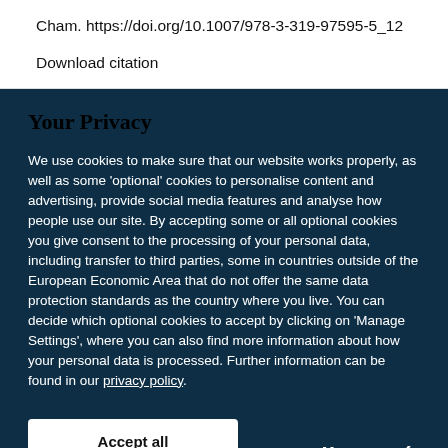Cham. https://doi.org/10.1007/978-3-319-97595-5_12
Download citation
Your Privacy
We use cookies to make sure that our website works properly, as well as some 'optional' cookies to personalise content and advertising, provide social media features and analyse how people use our site. By accepting some or all optional cookies you give consent to the processing of your personal data, including transfer to third parties, some in countries outside of the European Economic Area that do not offer the same data protection standards as the country where you live. You can decide which optional cookies to accept by clicking on 'Manage Settings', where you can also find more information about how your personal data is processed. Further information can be found in our privacy policy.
Accept all cookies
Manage preferences